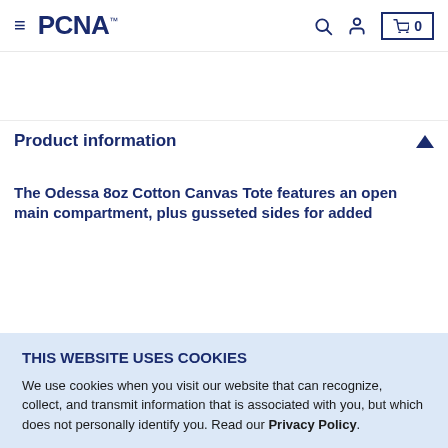PCNA navigation bar with logo, hamburger menu, search, account, and cart (0)
Product information
The Odessa 8oz Cotton Canvas Tote features an open main compartment, plus gusseted sides for added
THIS WEBSITE USES COOKIES
We use cookies when you visit our website that can recognize, collect, and transmit information that is associated with you, but which does not personally identify you. Read our Privacy Policy.